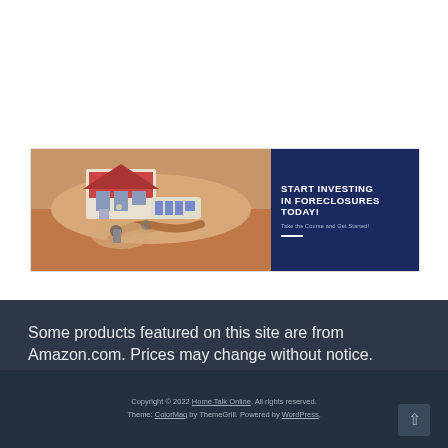[Figure (illustration): Advertisement banner for foreclosure investing course. Left side shows hands holding house keys and a model house on a peach/skin-toned background. Right side is dark navy blue with white bold text reading 'START INVESTING IN FORECLOSURES TODAY!' and smaller text 'Take the Course and Get Started!' with a white underline decoration.]
Some products featured on this site are from Amazon.com. Prices may change without notice.
Copyright © 2022 Home Talk Online. All rights reserved. Theme: ColorMag by ThemeGrill. Powered by WordPress.